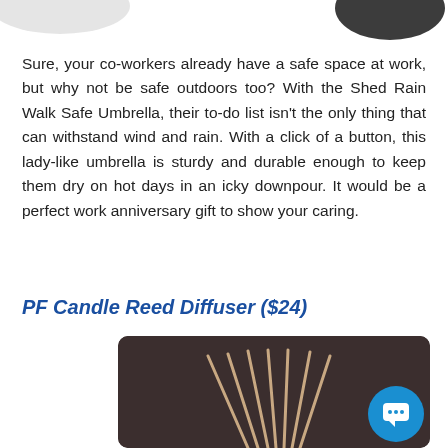[Figure (photo): Partial top edge of a product image (umbrella or decorative item), showing a dark curved shape on white background]
Sure, your co-workers already have a safe space at work, but why not be safe outdoors too? With the Shed Rain Walk Safe Umbrella, their to-do list isn't the only thing that can withstand wind and rain. With a click of a button, this lady-like umbrella is sturdy and durable enough to keep them dry on hot days in an icky downpour. It would be a perfect work anniversary gift to show your caring.
PF Candle Reed Diffuser ($24)
[Figure (photo): Reed diffuser sticks fanning out against a dark brown background, partially visible product photo]